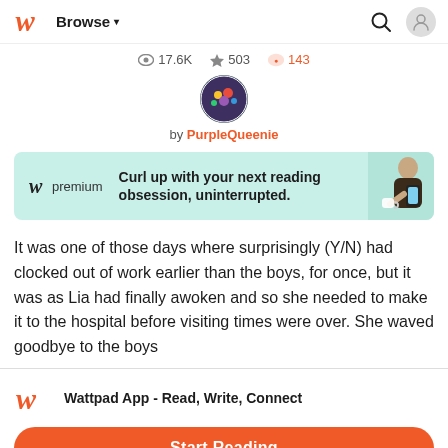Browse
17.6K  503  143
[Figure (photo): Circular avatar image of PurpleQueenie]
by PurpleQueenie
[Figure (infographic): Wattpad premium advertisement banner: 'Curl up with your next reading obsession, uninterrupted.']
It was one of those days where surprisingly (Y/N) had clocked out of work earlier than the boys, for once, but it was as Lia had finally awoken and so she needed to make it to the hospital before visiting times were over. She waved goodbye to the boys
Wattpad App - Read, Write, Connect
Start Reading
Log in with Browser